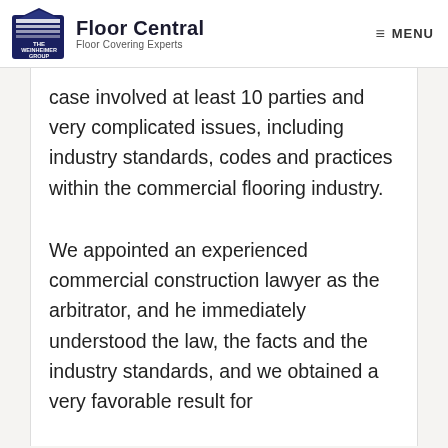Floor Central — Floor Covering Experts | MENU
case involved at least 10 parties and very complicated issues, including industry standards, codes and practices within the commercial flooring industry.
We appointed an experienced commercial construction lawyer as the arbitrator, and he immediately understood the law, the facts and the industry standards, and we obtained a very favorable result for